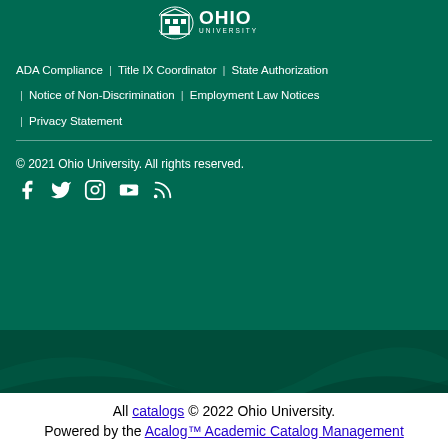[Figure (logo): Ohio University logo with building icon and text OHIO UNIVERSITY]
ADA Compliance  |  Title IX Coordinator  |  State Authorization  |  Notice of Non-Discrimination  |  Employment Law Notices  |  Privacy Statement
© 2021 Ohio University. All rights reserved.
[Figure (infographic): Social media icons: Facebook, Twitter, Instagram, YouTube, RSS]
[Figure (illustration): Decorative dark green section with wave/leaf pattern]
All catalogs © 2022 Ohio University. Powered by the Acalog™ Academic Catalog Management